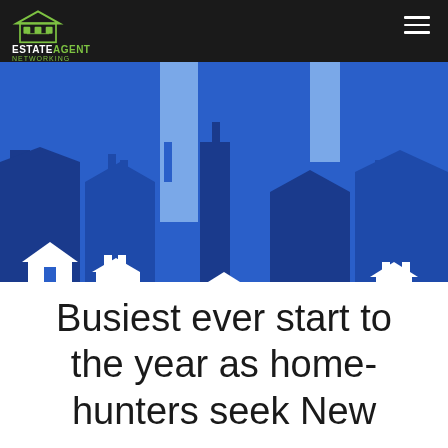ESTATE AGENT NETWORKING
[Figure (illustration): Stylized cityscape/skyline silhouette in blue tones showing building outlines and rooftops against a blue background]
Busiest ever start to the year as home-hunters seek New